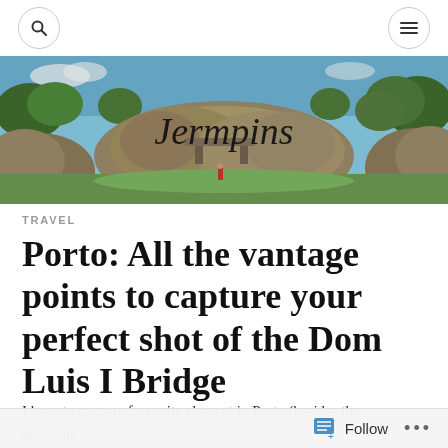Jermpins blog header with search and menu icons
[Figure (photo): Panoramic header image of ancient stone ruins/temple structures with green lawn, trees, blue sky, and a figure in red. The blog name 'Jermpins' is overlaid in cursive script.]
TRAVEL
Porto: All the vantage points to capture your perfect shot of the Dom Luis I Bridge
I have to say, my favourite element in Porto (besides the delicious
Follow ...